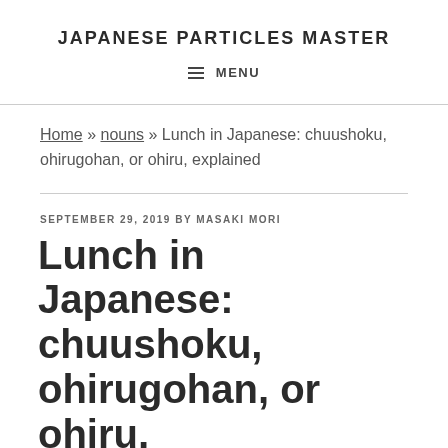JAPANESE PARTICLES MASTER
MENU
Home » nouns » Lunch in Japanese: chuushoku, ohirugohan, or ohiru, explained
SEPTEMBER 29, 2019 BY MASAKI MORI
Lunch in Japanese: chuushoku, ohirugohan, or ohiru,